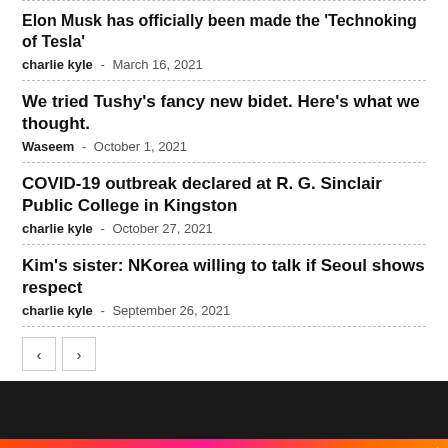Elon Musk has officially been made the 'Technoking of Tesla'
charlie kyle - March 16, 2021
We tried Tushy's fancy new bidet. Here's what we thought.
Waseem - October 1, 2021
COVID-19 outbreak declared at R. G. Sinclair Public College in Kingston
charlie kyle - October 27, 2021
Kim's sister: NKorea willing to talk if Seoul shows respect
charlie kyle - September 26, 2021
[Figure (logo): Early Newspaper logo with BANNER SPACE available for rent advertisement]